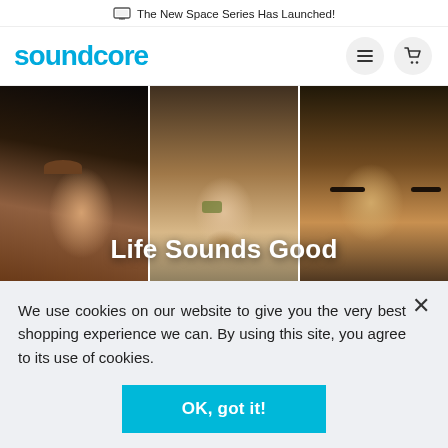The New Space Series Has Launched!
[Figure (logo): Soundcore logo in blue with hamburger menu and cart icons]
[Figure (photo): Three-panel hero image showing close-up faces of people with text overlay 'Life Sounds Good']
We use cookies on our website to give you the very best shopping experience we can. By using this site, you agree to its use of cookies.
OK, got it!